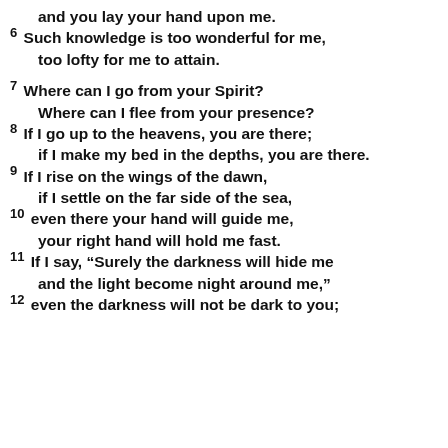and you lay your hand upon me.
6 Such knowledge is too wonderful for me, too lofty for me to attain.
7 Where can I go from your Spirit? Where can I flee from your presence?
8 If I go up to the heavens, you are there; if I make my bed in the depths, you are there.
9 If I rise on the wings of the dawn, if I settle on the far side of the sea,
10 even there your hand will guide me, your right hand will hold me fast.
11 If I say, “Surely the darkness will hide me and the light become night around me,”
12 even the darkness will not be dark to you;